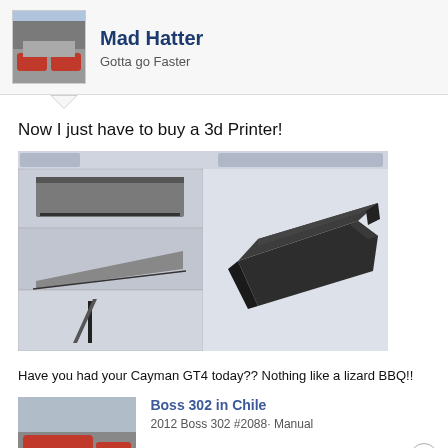Mad Hatter
Gotta go Faster
Now I just have to buy a 3d Printer!
[Figure (screenshot): 3D CAD software screenshot showing a wing/spoiler part from multiple angles on the left side panels and a 3D render of a dark grey/black spoiler part on the right]
Have you had your Cayman GT4 today?? Nothing like a lizard BBQ!!
[Figure (photo): Thumbnail photo of a red sports car (Boss 302) on a road]
Boss 302 in Chile
2012 Boss 302 #2088· Manual